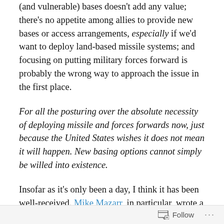(and vulnerable) bases doesn't add any value; there's no appetite among allies to provide new bases or access arrangements, especially if we'd want to deploy land-based missile systems; and focusing on putting military forces forward is probably the wrong way to approach the issue in the first place.
For all the posturing over the absolute necessity of deploying missile and forces forwards now, just because the United States wishes it does not mean it will happen. New basing options cannot simply be willed into existence.
Insofar as it's only been a day, I think it has been well-received. Mike Mazarr, in particular, wrote a very nice thread about the need to reconsider our assumptions of access and how those affect force structure and
Follow ···